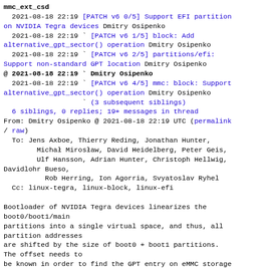mmc_ext_csd
  2021-08-18 22:19 [PATCH v6 0/5] Support EFI partition on NVIDIA Tegra devices Dmitry Osipenko
  2021-08-18 22:19 ` [PATCH v6 1/5] block: Add alternative_gpt_sector() operation Dmitry Osipenko
  2021-08-18 22:19 ` [PATCH v6 2/5] partitions/efi: Support non-standard GPT location Dmitry Osipenko
@ 2021-08-18 22:19 ` Dmitry Osipenko
  2021-08-18 22:19 ` [PATCH v6 4/5] mmc: block: Support alternative_gpt_sector() operation Dmitry Osipenko
                   ` (3 subsequent siblings)
  6 siblings, 0 replies; 19+ messages in thread
From: Dmitry Osipenko @ 2021-08-18 22:19 UTC (permalink / raw)
  To: Jens Axboe, Thierry Reding, Jonathan Hunter,
        Michał Mirosław, David Heidelberg, Peter Geis,
        Ulf Hansson, Adrian Hunter, Christoph Hellwig, Davidlohr Bueso,
          Rob Herring, Ion Agorria, Svyatoslav Ryhel
  Cc: linux-tegra, linux-block, linux-efi

Bootloader of NVIDIA Tegra devices linearizes the boot0/boot1/main
partitions into a single virtual space, and thus, all partition addresses
are shifted by the size of boot0 + boot1 partitions. The offset needs to
be known in order to find the GPT entry on eMMC storage of Tegra devices.
Add raw_boot_mult field to mmc_ext_csd which allows to
determine field...